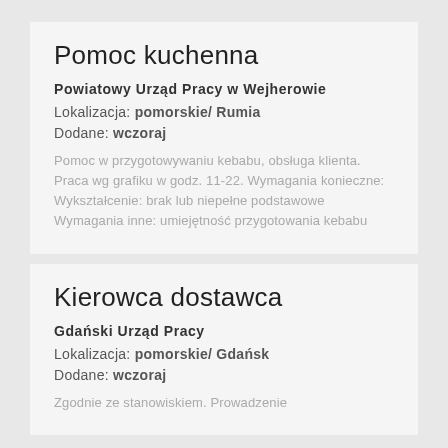Pomoc kuchenna
Powiatowy Urząd Pracy w Wejherowie
Lokalizacja: pomorskie/ Rumia
Dodane: wczoraj
Pomoc w przygotowywaniu kebabu, obsługa klienta. Praca wg grafiku w godz. 11-22. Wymagania konieczne: Wykształcenie: brak lub niepełne podstawowe Wymagania inne: umiejętność przygotowania kebabu
Kierowca dostawca
Gdański Urząd Pracy
Lokalizacja: pomorskie/ Gdańsk
Dodane: wczoraj
Zgodnie ze stanowiskiem. Prowadzenie